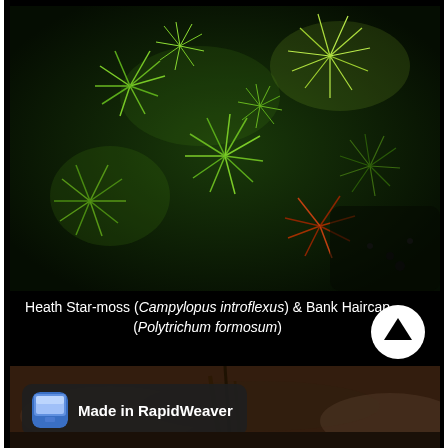[Figure (photo): Close-up photograph of Heath Star-moss (Campylopus introflexus) and Bank Haircap (Polytrichum formosum) showing dense green star-shaped moss plants with needle-like leaves against a dark background]
Heath Star-moss (Campylopus introflexus) & Bank Haircap (Polytrichum formosum)
[Figure (photo): Partially visible photograph below the caption showing blurred natural ground cover]
[Figure (logo): Made in RapidWeaver badge with app icon]